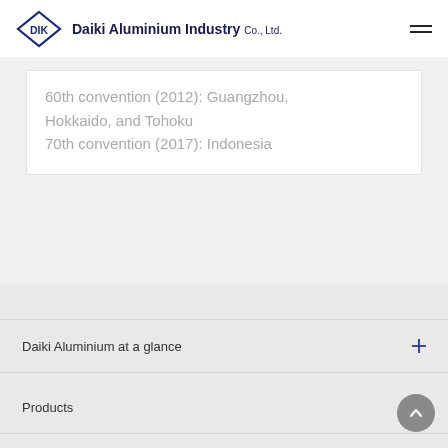Daiki Aluminium Industry Co., Ltd.
60th convention (2012): Guangzhou, Hokkaido, and Tohoku
70th convention (2017): Indonesia
Daiki Aluminium at a glance
Products
Company information